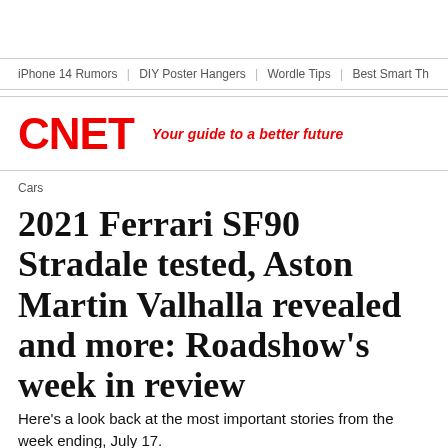iPhone 14 Rumors  |  DIY Poster Hangers  |  Wordle Tips  |  Best Smart Th
CNET  Your guide to a better future
Cars
2021 Ferrari SF90 Stradale tested, Aston Martin Valhalla revealed and more: Roadshow's week in review
Here's a look back at the most important stories from the week ending, July 17.